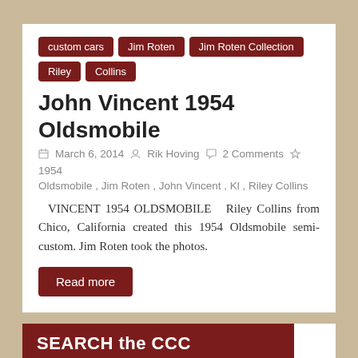custom cars
Jim Roten
Jim Roten Collection
Riley Collins
John Vincent 1954 Oldsmobile
March 6, 2014  Rik Hoving  2 Comments  1954 Oldsmobile, Jim Roten, John Vincent, Kl, Riley Collins
VINCENT 1954 OLDSMOBILE   Riley Collins from Chico, California created this 1954 Oldsmobile semi-custom. Jim Roten took the photos.
Read more
SEARCH the CCC
Search